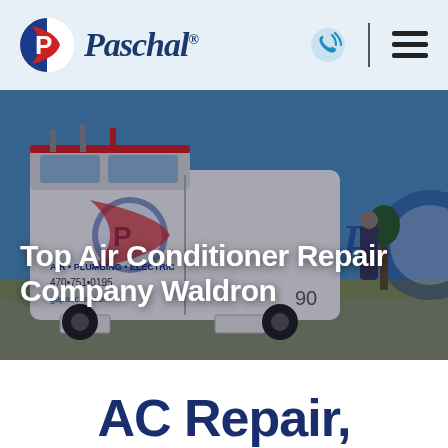[Figure (logo): Paschal Air Plumbing Electric logo with circular P icon and stylized script text]
[Figure (photo): Paschal branded service van parked outside a house, with a technician visible near the van. Text on van reads: Paschal Air Plumbing Electric, 470-751-0195, gapaschal.com]
Top Air Conditioner Repair Company Waldron
AC Repair,